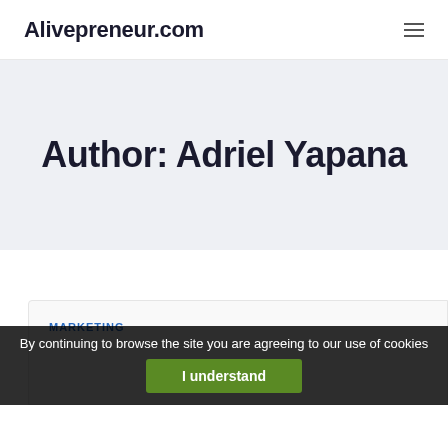Alivepreneur.com
Author: Adriel Yapana
MARKETING
By continuing to browse the site you are agreeing to our use of cookies
I understand